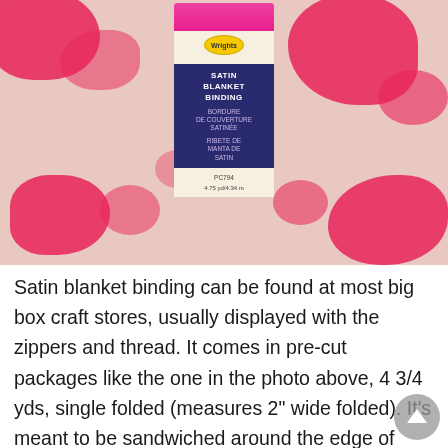[Figure (photo): Photo of a Wrights Satin Blanket Binding package (PC794, 4.75 yd/4.34 m) standing upright on a pink and cream patterned fabric background. The package has a pink ribbon at the top and a navy blue label section.]
Satin blanket binding can be found at most big box craft stores, usually displayed with the zippers and thread. It comes in pre-cut packages like the one in the photo above, 4 3/4 yds, single folded (measures 2" wide folded). It's meant to be sandwiched around the edge of your chosen blanket material, to finish it